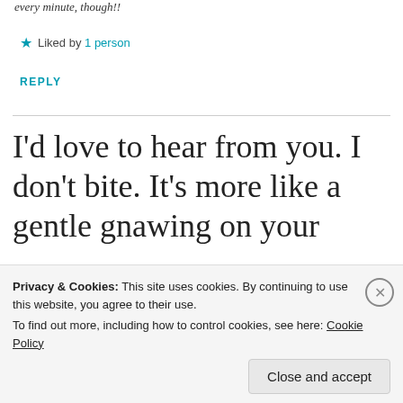every minute, though!!
★ Liked by 1 person
REPLY
I'd love to hear from you. I don't bite. It's more like a gentle gnawing on your
Privacy & Cookies: This site uses cookies. By continuing to use this website, you agree to their use. To find out more, including how to control cookies, see here: Cookie Policy
Close and accept